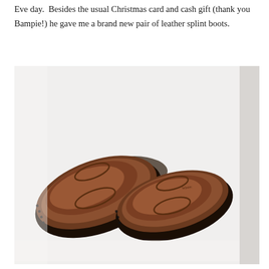Eve day.  Besides the usual Christmas card and cash gift (thank you Bampie!) he gave me a brand new pair of leather splint boots.
[Figure (photo): Photo of two brown leather splint boots displayed sole-up on a white surface, showing the molded leather soles with oval inset details and black rubber edges.]